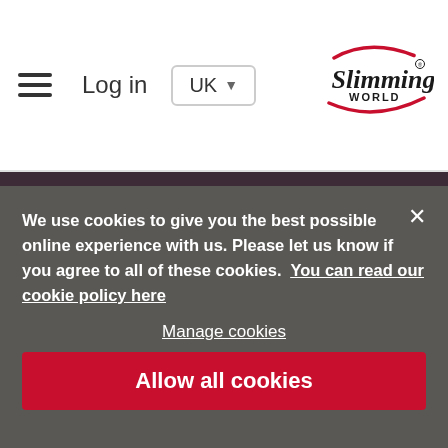Log in | UK | Slimming World
Postcode
Find your group
What happens in group
Our digital service
We use cookies to give you the best possible online experience with us. Please let us know if you agree to all of these cookies. You can read our cookie policy here
Manage cookies
Allow all cookies